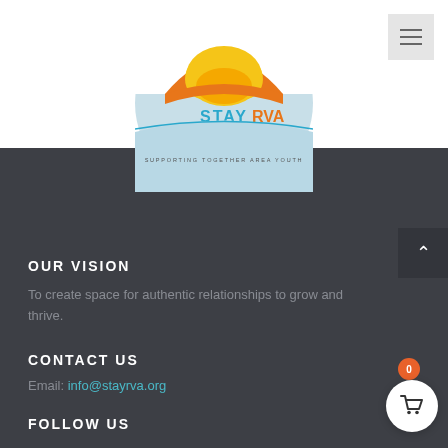[Figure (logo): STAY RVA logo - circular logo with orange and yellow tree/brain graphic, blue text STAYRVA, light blue circle bottom half, tagline SUPPORTING TOGETHER AREA YOUTH]
OUR VISION
To create space for authentic relationships to grow and thrive.
CONTACT US
Email: info@stayrva.org
FOLLOW US